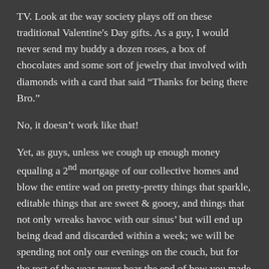TV. Look at the way society plays off on these traditional Valentine's Day gifts. As a guy, I would never send my buddy a dozen roses, a box of chocolates and some sort of jewelry that involved with diamonds with a card that said “Thanks for being there Bro.”
No, it doesn’t work like that!
Yet, as guys, unless we cough up enough money equaling a 2nd mortgage of our collective homes and blow the entire wad on pretty-pretty things that sparkle, editable things that are sweet & gooey, and things that not only wreaks havoc with our sinus’ but will end up being dead and discarded within a week; we will be spending not only our evenings on the couch, but for the rest of the year never hear the end of how you made her look bad in front of her friends because you got her Valentine’s Day present at The Quickie Mart.